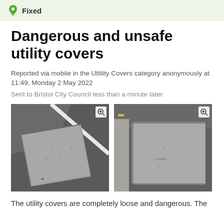Fixed
Dangerous and unsafe utility covers
Reported via mobile in the Utlility Covers category anonymously at 11:49, Monday 2 May 2022
Sent to Bristol City Council less than a minute later
[Figure (photo): Two photos of loose and displaced utility covers on a pavement/road surface, each with a zoom icon in the top-right corner.]
The utility covers are completely loose and dangerous. The